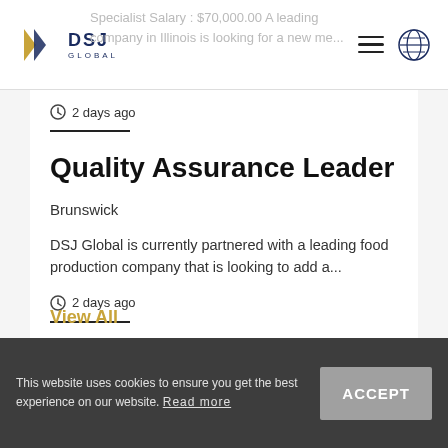DSJ Global — Specialist Salary : $70,000.00 A leading company in Illinois is looking for a new member
2 days ago
Quality Assurance Leader
Brunswick
DSJ Global is currently partnered with a leading food production company that is looking to add a...
2 days ago
View All
This website uses cookies to ensure you get the best experience on our website. Read more